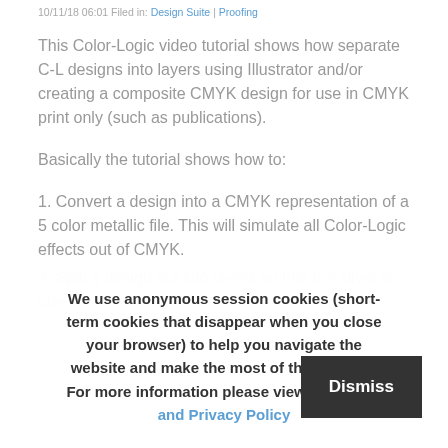10/11/18 06:01 Filed in: Design Suite | Proofing
This Color-Logic video tutorial shows how separate C-L designs into layers using Illustrator and/or creating a composite CMYK design for use in CMYK print only (such as publications).
Basically the tutorial shows how to:
1. Convert a design into a CMYK representation of a 5 color metallic file. This will simulate all Color-Logic effects out of CMYK.
2. Split a design out into layers so that the silver is one
We use anonymous session cookies (short-term cookies that disappear when you close your browser) to help you navigate the website and make the most of the features. For more information please view our GDPR and Privacy Policy